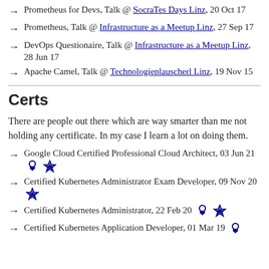Prometheus for Devs, Talk @ SocraTes Days Linz, 20 Oct 17
Prometheus, Talk @ Infrastructure as a Meetup Linz, 27 Sep 17
DevOps Questionaire, Talk @ Infrastructure as a Meetup Linz, 28 Jun 17
Apache Camel, Talk @ Technologieplauscherl Linz, 19 Nov 15
Certs
There are people out there which are way smarter than me not holding any certificate. In my case I learn a lot on doing them.
Google Cloud Certified Professional Cloud Architect, 03 Jun 21
Certified Kubernetes Administrator Exam Developer, 09 Nov 20
Certified Kubernetes Administrator, 22 Feb 20
Certified Kubernetes Application Developer, 01 Mar 19